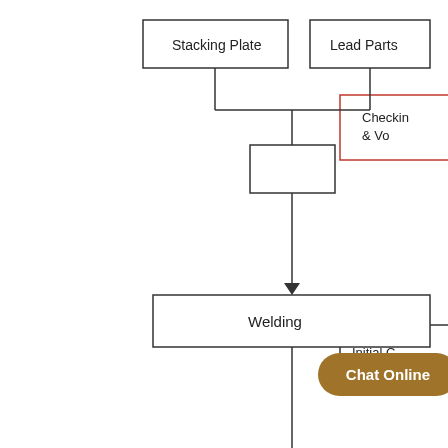[Figure (flowchart): Manufacturing process flowchart (partial view). Left column shows process steps: Stacking Plate and Lead Parts feed into a merge box, then arrow down to Welding, arrow down to Trimming (red border), dashed arrow down to Loading Container, arrow down to Adjusting Lead parts (partially visible). Right column (partially visible, cut off) shows quality check steps: Checking & Vo..., Initial C..., Checkin..., Filling..., Air Tig... with red borders on some. A 'Chat Online' button overlay is visible at bottom right.]